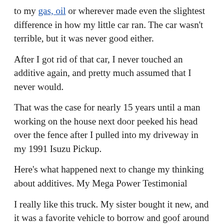to my gas, oil or wherever made even the slightest difference in how my little car ran. The car wasn't terrible, but it was never good either.
After I got rid of that car, I never touched an additive again, and pretty much assumed that I never would.
That was the case for nearly 15 years until a man working on the house next door peeked his head over the fence after I pulled into my driveway in my 1991 Isuzu Pickup.
Here's what happened next to change my thinking about additives. My Mega Power Testimonial
I really like this truck. My sister bought it new, and it was a favorite vehicle to borrow and goof around in when I first got my drivers license. But my sister, and her husband, were never big on regular car maintenance, so by the time I got this fine vehicle, it was rough. And it ran rough. Really rough.